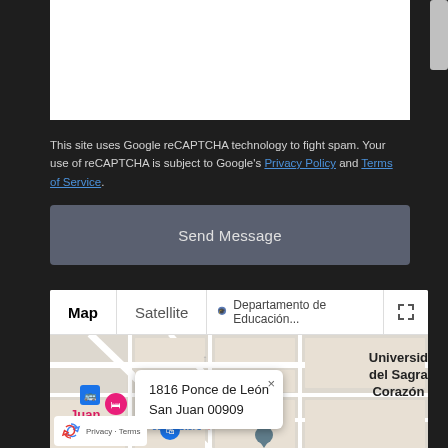[Figure (screenshot): White textarea input box (partially visible at top of page)]
This site uses Google reCAPTCHA technology to fight spam. Your use of reCAPTCHA is subject to Google's Privacy Policy and Terms of Service.
[Figure (screenshot): Send Message button (dark gray/slate colored button)]
[Figure (map): Google Maps embed showing 1816 Ponce de León, San Juan 00909 with Map/Satellite tabs and a location pin. University del Sagrado Corazón visible. Puerto Rico Comics / Pottery store labeled near the pin.]